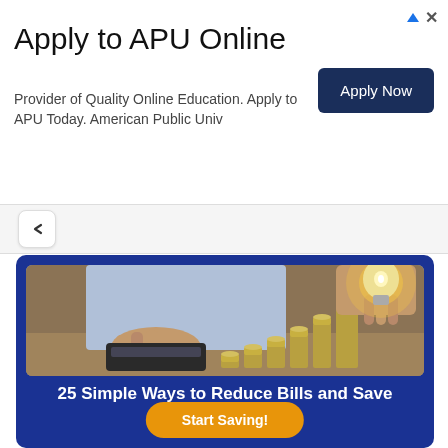Apply to APU Online - Provider of Quality Online Education. Apply to APU Today. American Public Univ
[Figure (screenshot): Advertisement banner for APU Online with 'Apply Now' button on dark navy background]
[Figure (photo): Person holding a glowing lightbulb above stacks of coins arranged in ascending order, with a calculator on a wooden table]
25 Simple Ways to Reduce Bills and Save Money
Start Saving!